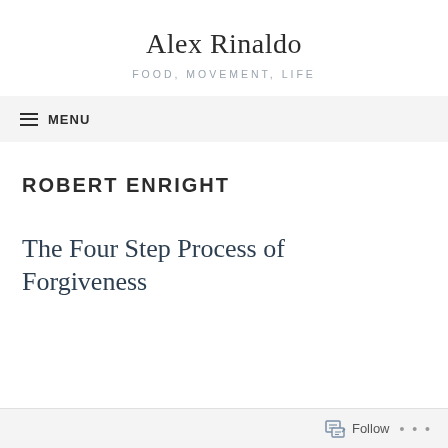Alex Rinaldo
FOOD, MOVEMENT, LIFE
≡ MENU
ROBERT ENRIGHT
The Four Step Process of Forgiveness
Follow ...